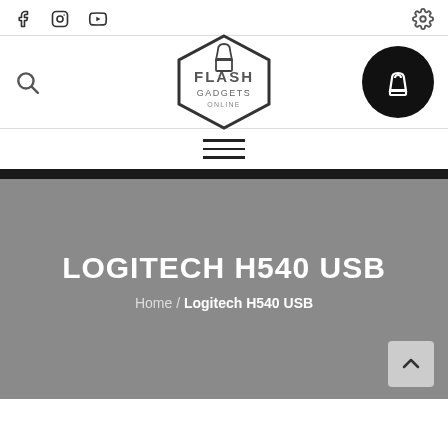Flash Gadgets Online — social icons, settings, logo, cart, search, navigation
[Figure (logo): Flash Gadgets Online hexagonal logo with shopping bag icon]
LOGITECH H540 USB
Home / Logitech H540 USB